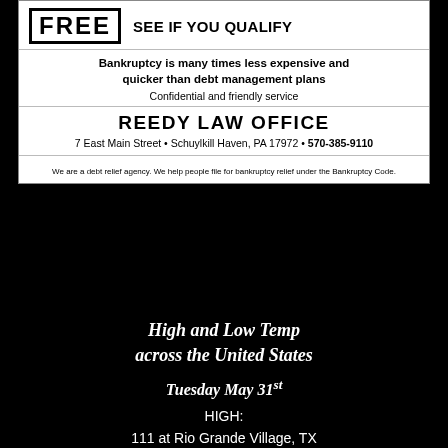[Figure (other): Advertisement for Reedy Law Office offering free bankruptcy consultation]
High and Low Temp across the United States
Tuesday May 31st
HIGH:
111 at Rio Grande Village, TX
LOW:
15 at Vernal, UT
SPONSOR